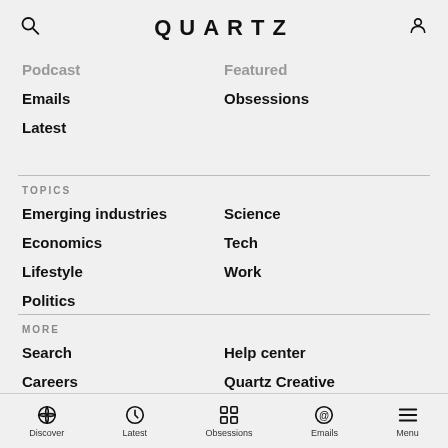QUARTZ
Podcast
Featured
Emails
Obsessions
Latest
TOPICS
Emerging industries
Science
Economics
Tech
Lifestyle
Work
Politics
MORE
Search
Help center
Careers
Quartz Creative
About us
Send us tips
Discover  Latest  Obsessions  Emails  Menu